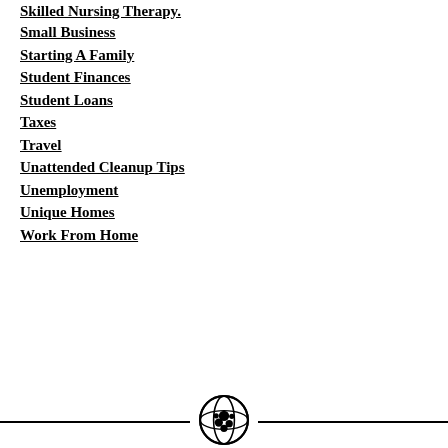Skilled Nursing Therapy.
Small Business
Starting A Family
Student Finances
Student Loans
Taxes
Travel
Unattended Cleanup Tips
Unemployment
Unique Homes
Work From Home
[Figure (illustration): Globe/world icon in a circle, decorative divider with horizontal lines on left and right]